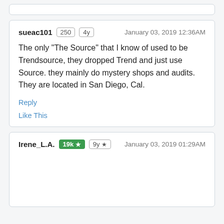sueac101 | 250 | 4y | January 03, 2019 12:36AM
The only "The Source" that I know of used to be Trendsource, they dropped Trend and just use Source. they mainly do mystery shops and audits. They are located in San Diego, Cal.
Reply
Like This
Irene_L.A. | 19k ★ | 9y ★ | January 03, 2019 01:29AM